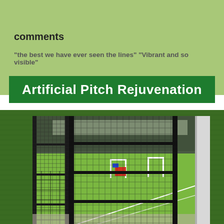comments
"the best we have ever seen the lines" "Vibrant and so visible"
Artificial Pitch Rejuvenation
[Figure (photo): Photograph of an artificial football pitch viewed through black metal mesh fencing, with white goalposts visible in the background and a red/blue piece of equipment on the pitch. The artificial turf is bright green.]